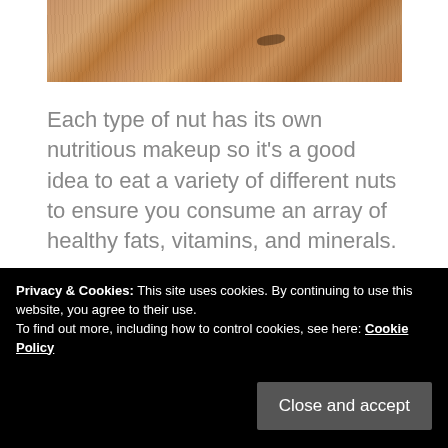[Figure (photo): Close-up photo of wood grain texture with warm brown tones and a dark knot/spot]
Each type of nut has its own nutritious makeup so it's a good idea to eat a variety of different nuts to ensure you consume an array of healthy fats, vitamins, and minerals.
According to reputable research and a multitude of studies, consuming nuts (in
Privacy & Cookies: This site uses cookies. By continuing to use this website, you agree to their use.
To find out more, including how to control cookies, see here: Cookie Policy
various nuts, particularly macadamias, and